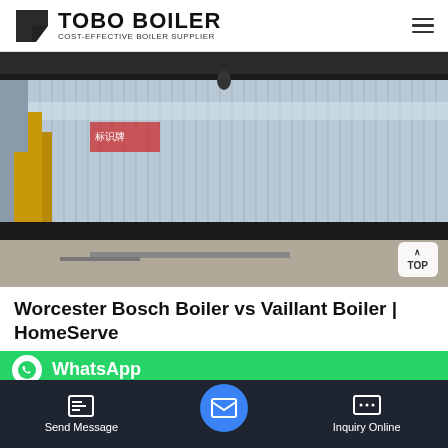TOBO BOILER — COST-EFFECTIVE BOILER SUPPLIER
[Figure (photo): Large industrial boiler with corrugated metal cladding/siding in a factory/warehouse setting. Yellow pipes visible on the left. The boiler surface shows ribbed metallic panels.]
Worcester Bosch Boiler vs Vaillant Boiler | HomeServe
ou w ace of mind in knowing that e ev a br rs typi
Send Message | Inquiry Online